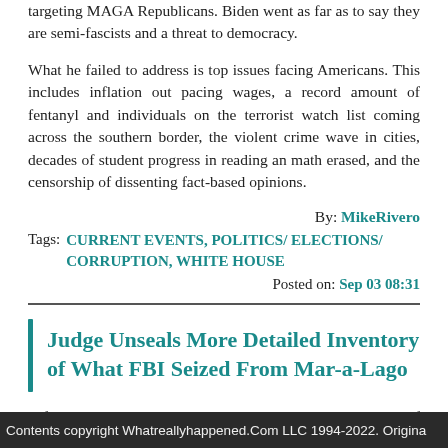targeting MAGA Republicans. Biden went as far as to say they are semi-fascists and a threat to democracy.
What he failed to address is top issues facing Americans. This includes inflation out pacing wages, a record amount of fentanyl and individuals on the terrorist watch list coming across the southern border, the violent crime wave in cities, decades of student progress in reading an math erased, and the censorship of dissenting fact-based opinions.
By: MikeRivero
Tags: CURRENT EVENTS, POLITICS/ ELECTIONS/ CORRUPTION, WHITE HOUSE
Posted on: Sep 03 08:31
Judge Unseals More Detailed Inventory of What FBI Seized From Mar-a-Lago
A federal judge on Friday unsealed more detailed inventory of what the FBI seized from Mar-a-Lago last month.
Contents copyright Whatreallyhappened.Com LLC 1994-2022. Origina